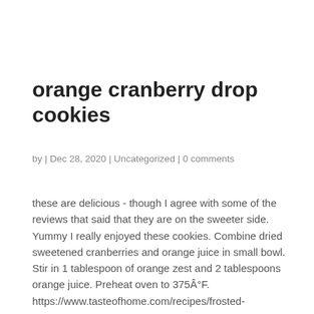orange cranberry drop cookies
by | Dec 28, 2020 | Uncategorized | 0 comments
these are delicious - though I agree with some of the reviews that said that they are on the sweeter side. Yummy I really enjoyed these cookies. Combine dried sweetened cranberries and orange juice in small bowl. Stir in 1 tablespoon of orange zest and 2 tablespoons orange juice. Preheat oven to 375Â°F. https://www.tasteofhome.com/recipes/frosted-